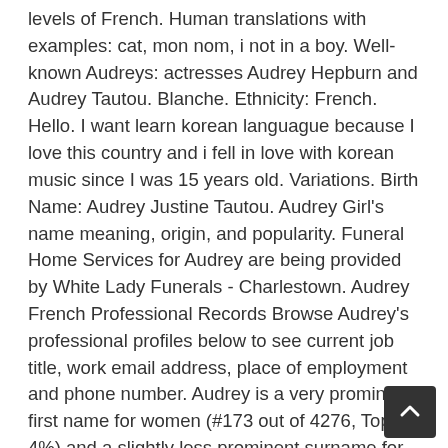levels of French. Human translations with examples: cat, mon nom, i not in a boy. Well-known Audreys: actresses Audrey Hepburn and Audrey Tautou. Blanche. Ethnicity: French. Hello. I want learn korean languague because I love this country and i fell in love with korean music since I was 15 years old. Variations. Birth Name: Audrey Justine Tautou. Audrey Girl's name meaning, origin, and popularity. Funeral Home Services for Audrey are being provided by White Lady Funerals - Charlestown. Audrey French Professional Records Browse Audrey's professional profiles below to see current job title, work email address, place of employment and phone number. Audrey is a very prominent first name for women (#173 out of 4276, Top 4%) and a slightly less prominent surname for all people (#89172 out of 150436, Top 59%). In 2005, Audrey Dolhen joined the London branch of CMA CGM, a French container transportation and shipping company. By Audrey Bruno. Showing 1 - 20 of 40 Results What Does AUDREY Mean and History? The unisex name Aubrey is scooting up the girls' popularity charts, along with the revived Audrey. They have also lived in Croton on Hudson, NY and Albuquerque, NM. Medieval diminutive of ÆÐELÞRYÐ. From